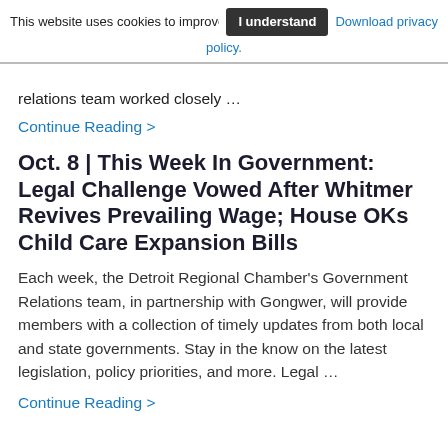This website uses cookies to improve your experience. Please review our privacy policy -- March 2020  [I understand]  Download privacy policy.
relations team worked closely …
Continue Reading >
Oct. 8 | This Week In Government: Legal Challenge Vowed After Whitmer Revives Prevailing Wage; House OKs Child Care Expansion Bills
Each week, the Detroit Regional Chamber's Government Relations team, in partnership with Gongwer, will provide members with a collection of timely updates from both local and state governments. Stay in the know on the latest legislation, policy priorities, and more. Legal …
Continue Reading >